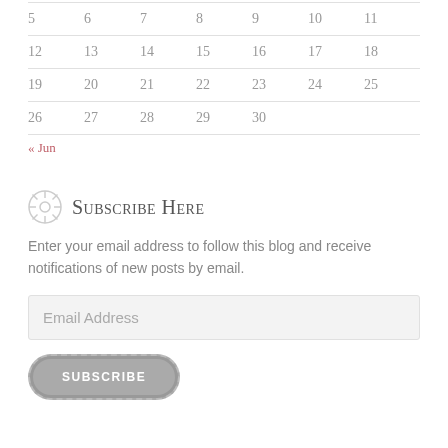| 5 | 6 | 7 | 8 | 9 | 10 | 11 |
| 12 | 13 | 14 | 15 | 16 | 17 | 18 |
| 19 | 20 | 21 | 22 | 23 | 24 | 25 |
| 26 | 27 | 28 | 29 | 30 |  |  |
« Jun
Subscribe Here
Enter your email address to follow this blog and receive notifications of new posts by email.
Email Address
SUBSCRIBE